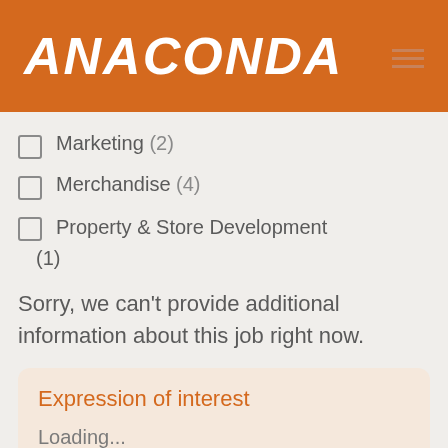ANACONDA
Marketing (2)
Merchandise (4)
Property & Store Development (1)
Sorry, we can't provide additional information about this job right now.
Expression of interest
Loading...